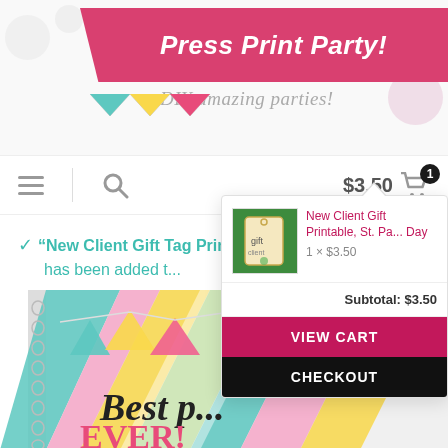[Figure (screenshot): Press Print Party website header with pink banner logo, bunting flags, and tagline 'DIY amazing parties!']
Press Print Party! DIY amazing parties!
$3.50 [cart icon with badge 1]
"New Client Gift Tag Prin... has been added t...
[Figure (screenshot): Cart dropdown showing: New Client Gift Printable, St. Pa... Day, 1 × $3.50, Subtotal: $3.50, VIEW CART button, CHECKOUT button]
[Figure (photo): Spiral notebook with colorful diagonal stripes and bunting flags, text 'Best p... EVER!']